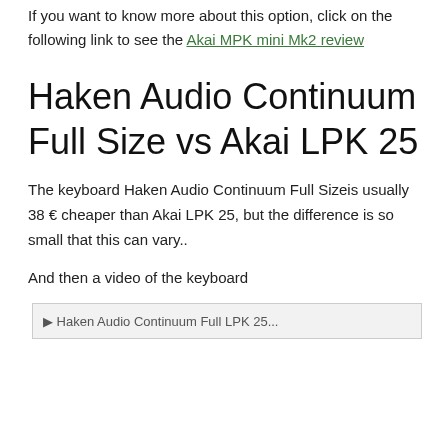If you want to know more about this option, click on the following link to see the Akai MPK mini Mk2 review
Haken Audio Continuum Full Size vs Akai LPK 25
The keyboard Haken Audio Continuum Full Sizeis usually 38 € cheaper than Akai LPK 25, but the difference is so small that this can vary..
And then a video of the keyboard
[Figure (screenshot): Partially visible video embed or screenshot at the bottom of the page]